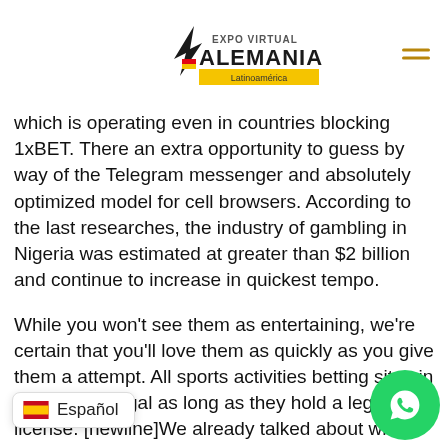Expo Virtual Alemania Latinoamérica
which is operating even in countries blocking 1xBET. There an extra opportunity to guess by way of the Telegram messenger and absolutely optimized model for cell browsers. According to the last researches, the industry of gambling in Nigeria was estimated at greater than $2 billion and continue to increase in quickest tempo.
While you won't see them as entertaining, we're certain that you'll love them as quickly as you give them a attempt. All sports activities betting sites in Nigeria are legal as long as they hold a legit license. [newline]We already talked about which regulator gives it – if a betting web site needs to function in Africa's second-biggest market, it must possess a valid license. Nigeria is doubtless one of the most competitive betting markets in Africa.
It additionally presents superb bonuses like a welcome bonus and discounts items that you just ought to make use of to profit further from your bets. Its cellular app is the simplest out there as of now, as a